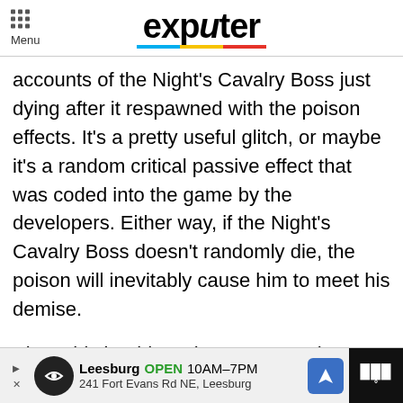Menu | exputer
accounts of the Night's Cavalry Boss just dying after it respawned with the poison effects. It's a pretty useful glitch, or maybe it's a random critical passive effect that was coded into the game by the developers. Either way, if the Night's Cavalry Boss doesn't randomly die, the poison will inevitably cause him to meet his demise.
Since this is Elden Ring, you can also change things up a bit by climbing up on a tree and using
[Figure (screenshot): Advertisement bar: Leesburg OPEN 10AM-7PM, 241 Fort Evans Rd NE, Leesburg, with navigation arrow icon]